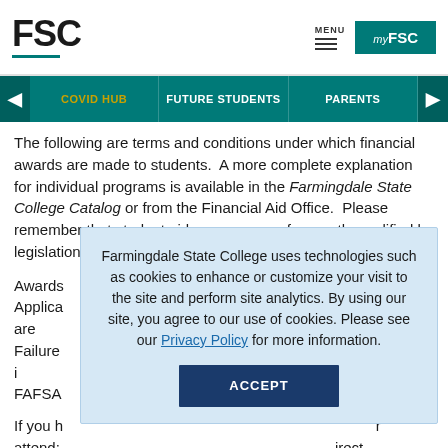FSC | MENU | myFSC
COVID HUB | FUTURE STUDENTS | PARENTS
The following are terms and conditions under which financial awards are made to students.  A more complete explanation for individual programs is available in the Farmingdale State College Catalog or from the Financial Aid Office.  Please remember that student aid programs are frequently modified by legislation.
Awards... Applications... ed if you are... ation. Failure... may result i... rect FAFSA... to your fi...
Farmingdale State College uses technologies such as cookies to enhance or customize your visit to the site and perform site analytics. By using our site, you agree to our use of cookies. Please see our Privacy Policy for more information. ACCEPT
If you h... r attend:... irect